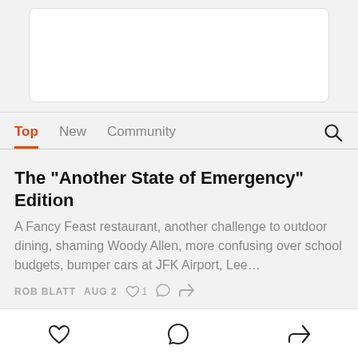[Figure (screenshot): White card placeholder at top of screen]
Top   New   Community
The "Another State of Emergency" Edition
A Fancy Feast restaurant, another challenge to outdoor dining, shaming Woody Allen, more confusing over school budgets, bumper cars at JFK Airport, Lee…
ROB BLATT   AUG 2   ♡ 1   ○   ↪
The Briefly Returns
Good fucking lord. I took a few months off, what the hell happened?
Heart icon   Comment icon   Share icon